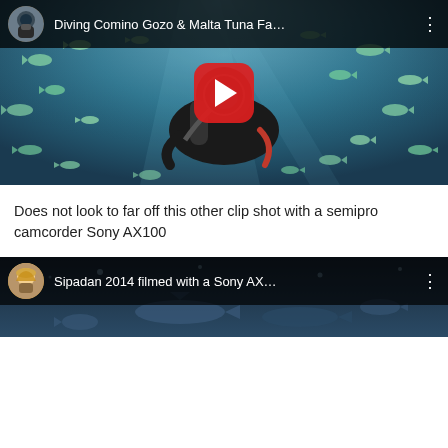[Figure (screenshot): YouTube video thumbnail showing a scuba diver underwater surrounded by fish, with video title 'Diving Comino Gozo & Malta Tuna Fa...' and a red YouTube play button in the center]
Does not look to far off this other clip shot with a semipro camcorder Sony AX100
[Figure (screenshot): YouTube video thumbnail showing a blonde woman diver, with video title 'Sipadan 2014 filmed with a Sony AX...' and underwater shark scene]